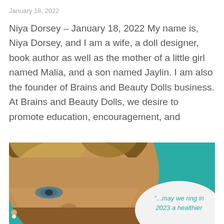January 18, 2022
Niya Dorsey – January 18, 2022 My name is, Niya Dorsey, and I am a wife, a doll designer, book author as well as the mother of a little girl named Malia, and a son named Jaylin. I am also the founder of Brains and Beauty Dolls business. At Brains and Beauty Dolls, we desire to promote education, encouragement, and
[Figure (photo): A woman with short blonde hair photographed close-up against a teal background. On the lower-right is a white oval speech bubble with teal text reading: "...may we ring in 2023 a healthier"]